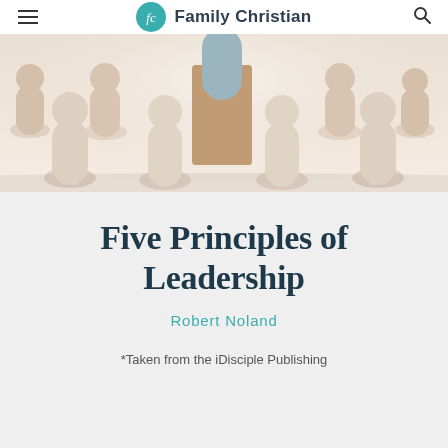Family Christian
[Figure (photo): Wooden peg dolls arranged in a group, with one rectangular brown block standing taller in the center, suggesting leadership among followers. Soft light background.]
Five Principles of Leadership
Robert Noland
*Taken from the iDisciple Publishing